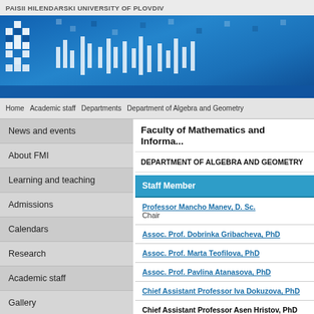PAISII HILENDARSKI UNIVERSITY OF PLOVDIV
[Figure (illustration): University banner with blue pixel mosaic background, white pixel logo on left, white bar graphics on right]
Faculty of Mathematics and Informa...
DEPARTMENT OF ALGEBRA AND GEOMETRY
Home   Academic staff   Departments   Department of Algebra and Geometry
News and events
About FMI
Learning and teaching
Admissions
Calendars
Research
Academic staff
Gallery
| Staff Member |
| --- |
| Professor Mancho Manev, D. Sc.
Chair |
| Assoc. Prof. Dobrinka Gribacheva, PhD |
| Assoc. Prof. Marta Teofilova, PhD |
| Assoc. Prof. Pavlina Atanasova, PhD |
| Chief Assistant Professor Iva Dokuzova, PhD |
| Chief Assistant Professor Asen Hristov, PhD |
| Chief Assistant Professor Yordan Epitronov |